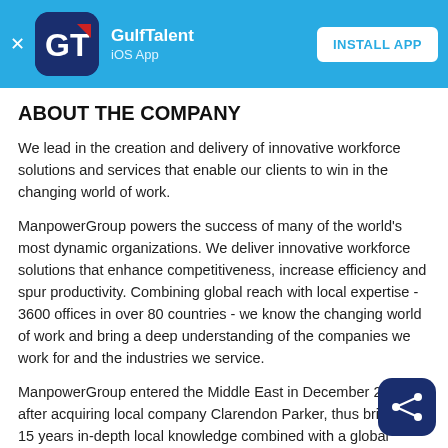GulfTalent iOS App — INSTALL APP
ABOUT THE COMPANY
We lead in the creation and delivery of innovative workforce solutions and services that enable our clients to win in the changing world of work.
ManpowerGroup powers the success of many of the world's most dynamic organizations. We deliver innovative workforce solutions that enhance competitiveness, increase efficiency and spur productivity. Combining global reach with local expertise - 3600 offices in over 80 countries - we know the changing world of work and bring a deep understanding of the companies we work for and the industries we service.
ManpowerGroup entered the Middle East in December 2007 after acquiring local company Clarendon Parker, thus bringing 15 years in-depth local knowledge combined with a global footprint and industry shaping expertise and thought leadership. Manpower Middle East supports clients in the Middle East and North Africa regions. Ou…